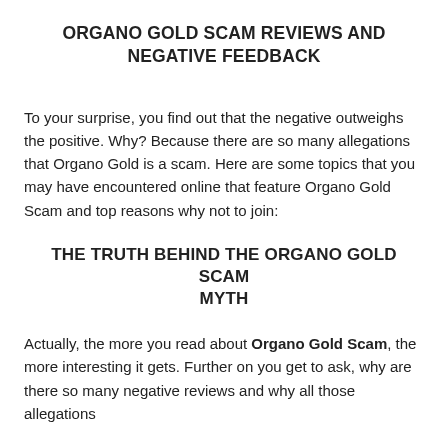ORGANO GOLD SCAM REVIEWS AND NEGATIVE FEEDBACK
To your surprise, you find out that the negative outweighs the positive. Why? Because there are so many allegations that Organo Gold is a scam. Here are some topics that you may have encountered online that feature Organo Gold Scam and top reasons why not to join:
THE TRUTH BEHIND THE ORGANO GOLD SCAM MYTH
Actually, the more you read about Organo Gold Scam, the more interesting it gets. Further on you get to ask, why are there so many negative reviews and why all those allegations